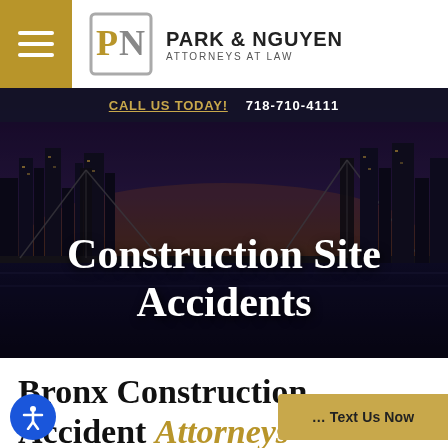[Figure (logo): Park & Nguyen Attorneys at Law logo with PN monogram in gold/gray diamond shape, hamburger menu icon on gold background]
CALL US TODAY!  718-710-4111
[Figure (photo): Night cityscape of New York City with bridge, dark moody atmosphere used as hero background]
Construction Site Accidents
Bronx Construction Accident Attorneys